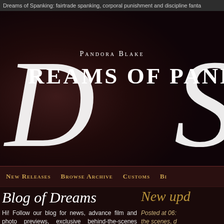Dreams of Spanking: fairtrade spanking, corporal punishment and discipline fanta
[Figure (logo): Pandora Blake Dreams of Spanking logo with large decorative D and S initials on dark burgundy background]
New Releases   Browse Archive   Customs   Bi
Blog of Dreams
New upd
Hi! Follow our blog for news, advance film and photo previews, exclusive behind-the-scenes spanking shoot reports and latest website updates.
Posted at 06: the scenes, d scolding, stric
Join the Mailing List